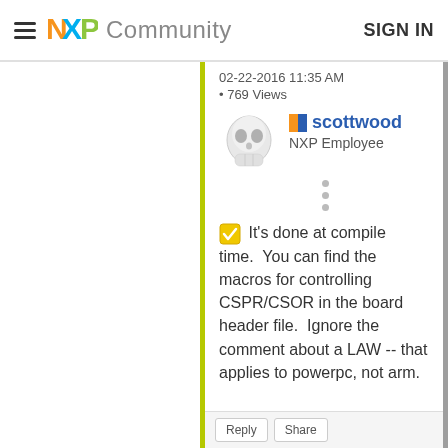NXP Community  SIGN IN
02-22-2016 11:35 AM
• 769 Views
[Figure (illustration): Skull avatar icon for user scottwood]
scottwood
NXP Employee
✔ It's done at compile time.  You can find the macros for controlling CSPR/CSOR in the board header file.  Ignore the comment about a LAW -- that applies to powerpc, not arm.